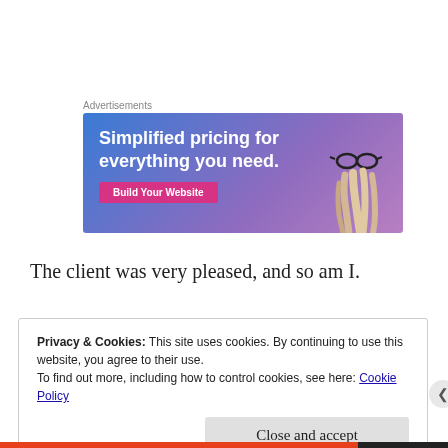[Figure (infographic): Advertisement banner with blue-purple gradient background, text 'Simplified pricing for everything you need.' and a pink 'Build Your Website' button, with a hand holding glasses on the right side.]
The client was very pleased, and so am I.
Privacy & Cookies: This site uses cookies. By continuing to use this website, you agree to their use.
To find out more, including how to control cookies, see here: Cookie Policy